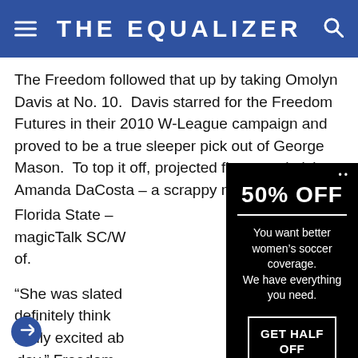THE EQUALIZER
The Freedom followed that up by taking Omolyn Davis at No. 10.  Davis starred for the Freedom Futures in their 2010 W-League campaign and proved to be a true sleeper pick out of George Mason.  To top it off, projected first round pick Amanda DaCosta – a scrappy midfielder out of Florida State – magicTalk SC/W of.
“She was slated definitely think really excited ab day,” Freedom d.
[Figure (other): Popup advertisement overlay with black background showing '50% OFF' promotion for The Equalizer women's soccer coverage, with a 'GET HALF OFF' button]